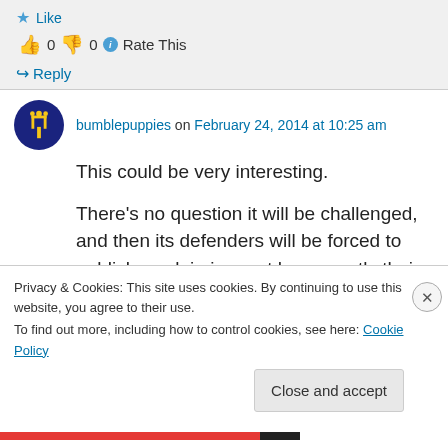Like
👍 0 👎 0 ℹ Rate This
↪ Reply
bumblepuppies on February 24, 2014 at 10:25 am
This could be very interesting.
There's no question it will be challenged, and then its defenders will be forced to publicly explain in court how exactly their religion
Privacy & Cookies: This site uses cookies. By continuing to use this website, you agree to their use.
To find out more, including how to control cookies, see here: Cookie Policy
Close and accept